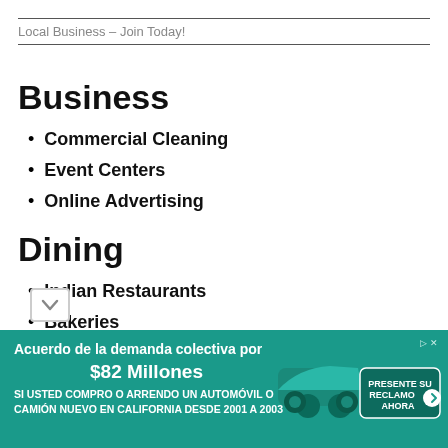Local Business – Join Today!
Business
Commercial Cleaning
Event Centers
Online Advertising
Dining
Indian Restaurants
Bakeries
[Figure (infographic): Advertisement banner in teal/green color: 'Acuerdo de la demanda colectiva por $82 Millones SI USTED COMPRO O ARRENDO UN AUTOMÓVIL O CAMIÓN NUEVO EN CALIFORNIA DESDE 2001 A 2003' with car image and 'PRESENTE SU RECLAMO AHORA' button]